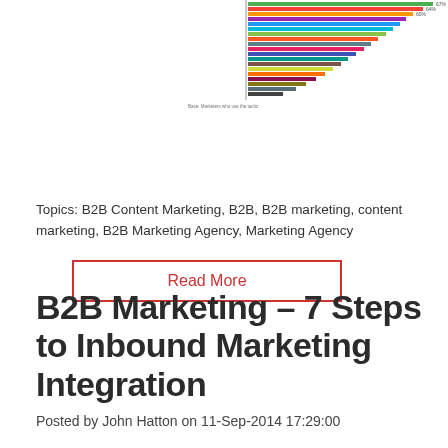[Figure (bar-chart): Horizontal bar chart with many colored bars showing various marketing-related categories, partially visible at top right of page]
Read More
Topics: B2B Content Marketing, B2B, B2B marketing, content marketing, B2B Marketing Agency, Marketing Agency
B2B Marketing – 7 Steps to Inbound Marketing Integration
Posted by John Hatton on 11-Sep-2014 17:29:00